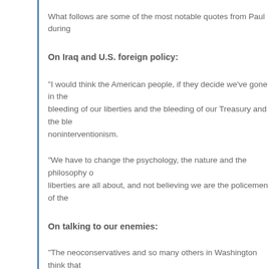What follows are some of the most notable quotes from Paul during
On Iraq and U.S. foreign policy:
“I would think the American people, if they decide we’ve gone in the bleeding of our liberties and the bleeding of our Treasury and the ble noninterventionism.
“We have to change the psychology, the nature and the philosophy o liberties are all about, and not believing we are the policemen of the
On talking to our enemies:
“The neoconservatives and so many others in Washington think that confidence about who we are and what we are, and we can defend o
On the NSA and whistleblower Edward Snowden: